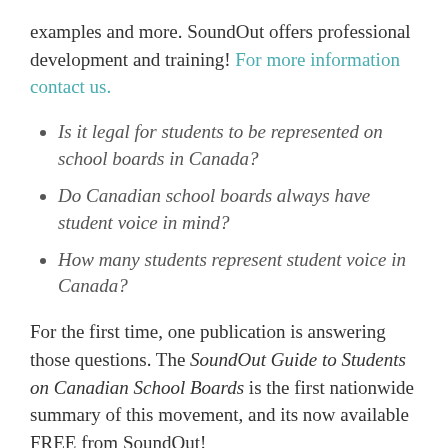examples and more. SoundOut offers professional development and training! For more information contact us.
Is it legal for students to be represented on school boards in Canada?
Do Canadian school boards always have student voice in mind?
How many students represent student voice in Canada?
For the first time, one publication is answering those questions. The SoundOut Guide to Students on Canadian School Boards is the first nationwide summary of this movement, and its now available FREE from SoundOut!